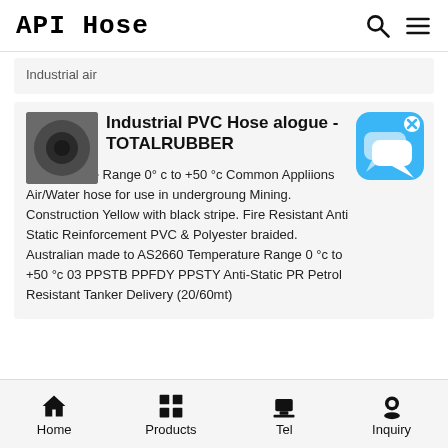API Hose
Industrial air
Industrial PVC Hose alogue - TOTALRUBBER
Temperature Range 0° c to +50 °c Common Appliions Air/Water hose for use in undergroung Mining. Construction Yellow with black stripe. Fire Resistant Anti Static Reinforcement PVC & Polyester braided. Australian made to AS2660 Temperature Range 0 °c to +50 °c 03 PPSTB PPFDY PPSTY Anti-Static PR Petrol Resistant Tanker Delivery (20/60mt)
Home  Products  Tel  Inquiry